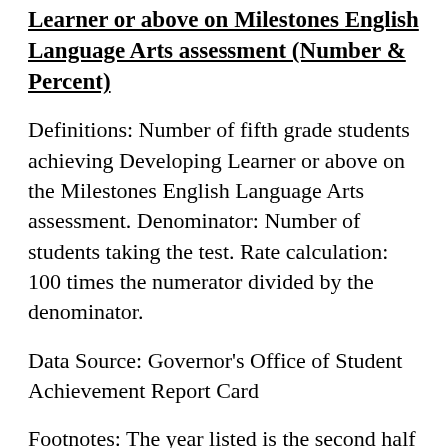Learner or above on Milestones English Language Arts assessment (Number & Percent)
Definitions: Number of fifth grade students achieving Developing Learner or above on the Milestones English Language Arts assessment. Denominator: Number of students taking the test. Rate calculation: 100 times the numerator divided by the denominator.
Data Source: Governor's Office of Student Achievement Report Card
Footnotes: The year listed is the second half of the school year; for example, 2016 refers to the 2015-2016 school year. Data for all school